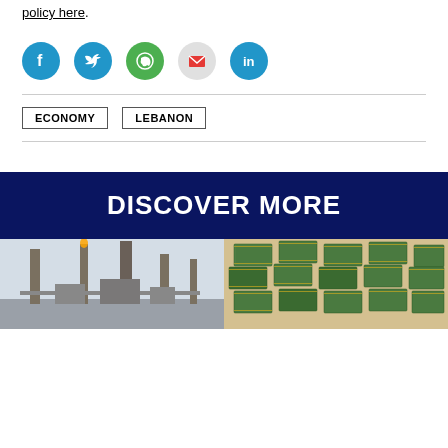policy here.
[Figure (infographic): Row of social media share icons: Facebook (blue circle), Twitter (blue circle), WhatsApp (green circle), Email (grey circle with red envelope), LinkedIn (blue circle)]
ECONOMY
LEBANON
DISCOVER MORE
[Figure (photo): Industrial oil refinery with tall chimneys and pipework against a pale sky]
[Figure (photo): Stacks of bundled US dollar bills piled up]